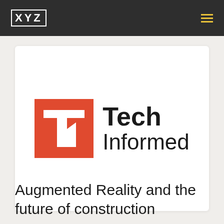XYZ
[Figure (logo): Tech Informed logo: red square with white TI letters followed by bold text 'Tech Informed']
Augmented Reality and the future of construction